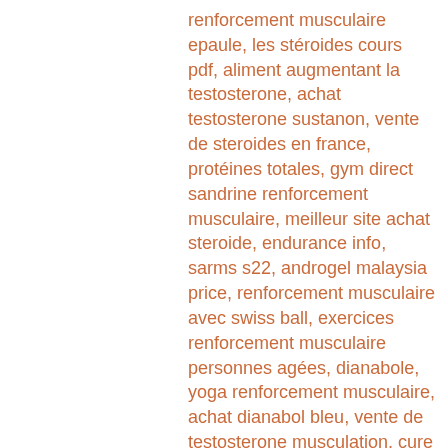renforcement musculaire epaule, les stéroides cours pdf, aliment augmentant la testosterone, achat testosterone sustanon, vente de steroides en france, protéines totales, gym direct sandrine renforcement musculaire, meilleur site achat steroide, endurance info, sarms s22, androgel malaysia price, renforcement musculaire avec swiss ball, exercices renforcement musculaire personnes agées, dianabole, yoga renforcement musculaire, achat dianabol bleu, vente de testosterone musculation, cure de testostérone, quel aliment contient le plus de protéine, plan d entraînement semi marathon, seance renforcement musculaire maison, prendre de la testosterone, musculation sans protéine, acheter dianabol, clenbuterol témoignages, entrainement marathon, programme rameur, histoire de la musculation, anabolisant musculation usa, magasin de steroide en